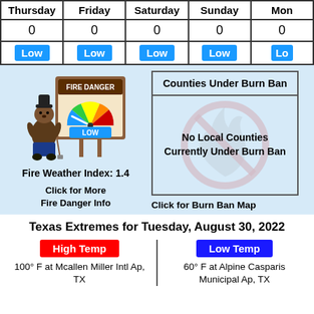| Thursday | Friday | Saturday | Sunday | Mon |
| --- | --- | --- | --- | --- |
| 0 | 0 | 0 | 0 | 0 |
| Low | Low | Low | Low | Lo |
[Figure (illustration): Smokey Bear fire danger sign showing LOW fire danger level with gauge pointing to low]
Fire Weather Index: 1.4
Click for More Fire Danger Info
Counties Under Burn Ban
No Local Counties Currently Under Burn Ban
Click for Burn Ban Map
Texas Extremes for Tuesday, August 30, 2022
High Temp
100° F at Mcallen Miller Intl Ap, TX
Low Temp
60° F at Alpine Casparis Municipal Ap, TX